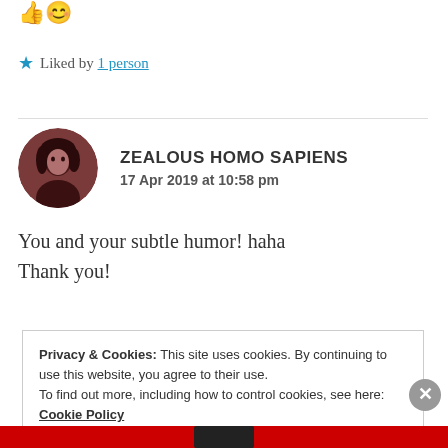[Figure (illustration): Two small emoji icons: a thumbs up and a smiley face]
★ Liked by 1 person
ZEALOUS HOMO SAPIENS
17 Apr 2019 at 10:58 pm
[Figure (photo): Round avatar photo of a person with dark hair]
You and your subtle humor! haha Thank you!
Privacy & Cookies: This site uses cookies. By continuing to use this website, you agree to their use.
To find out more, including how to control cookies, see here: Cookie Policy
Close and accept